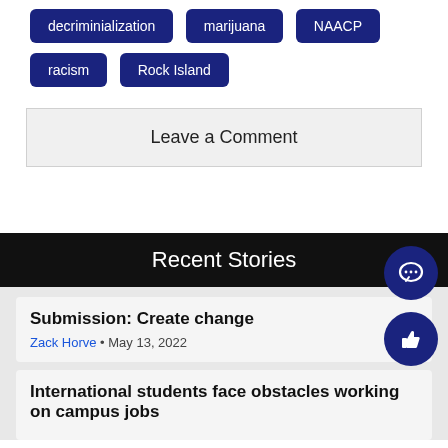decriminialization
marijuana
NAACP
racism
Rock Island
Leave a Comment
Recent Stories
Submission: Create change
Zack Horve • May 13, 2022
International students face obstacles working on campus jobs